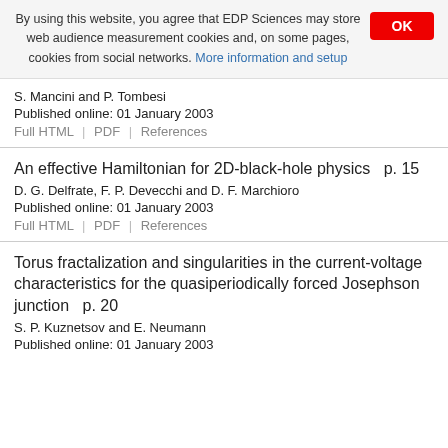By using this website, you agree that EDP Sciences may store web audience measurement cookies and, on some pages, cookies from social networks. More information and setup
S. Mancini and P. Tombesi
Published online: 01 January 2003
Full HTML | PDF | References
An effective Hamiltonian for 2D-black-hole physics   p. 15
D. G. Delfrate, F. P. Devecchi and D. F. Marchioro
Published online: 01 January 2003
Full HTML | PDF | References
Torus fractalization and singularities in the current-voltage characteristics for the quasiperiodically forced Josephson junction   p. 20
S. P. Kuznetsov and E. Neumann
Published online: 01 January 2003